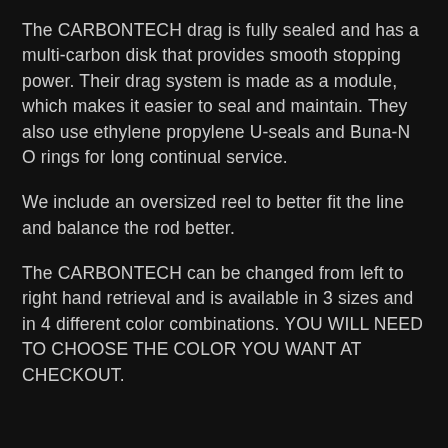The CARBONTECH drag is fully sealed and has a multi-carbon disk that provides smooth stopping power.  Their drag system is made as a module, which makes it easier to seal and maintain. They also use ethylene propylene U-seals and Buna-N O rings for long continual service.
We include an oversized reel to better fit the line and balance the rod better.
The CARBONTECH can be changed from left to right hand retrieval and is available in 3 sizes and in 4 different color combinations.  YOU WILL NEED TO CHOOSE THE COLOR YOU WANT AT CHECKOUT.